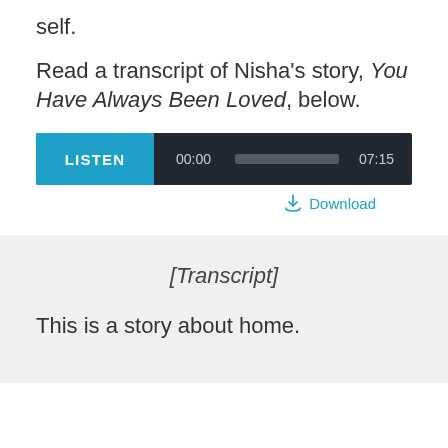self.
Read a transcript of Nisha’s story, You Have Always Been Loved, below.
[Figure (other): Audio player widget with LISTEN button, time display 00:00, progress bar, and duration 07:15]
Download
[Transcript]
This is a story about home.